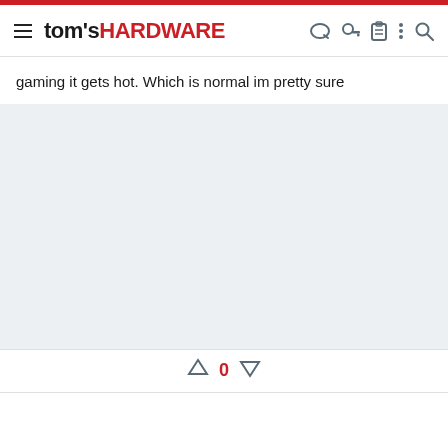tom's HARDWARE
gaming it gets hot. Which is normal im pretty sure
[Figure (other): Gray empty content block area]
0